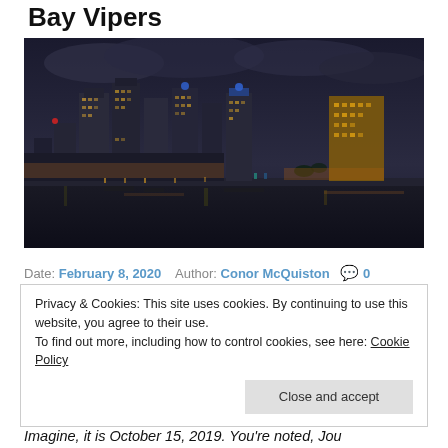Bay Vipers
[Figure (photo): Night aerial photo of Tampa Bay city skyline with downtown skyscrapers lit up, waterfront with marina, dark cloudy sky]
Date: February 8, 2020   Author: Conor McQuiston   💬 0
Privacy & Cookies: This site uses cookies. By continuing to use this website, you agree to their use.
To find out more, including how to control cookies, see here: Cookie Policy
[Close and accept]
Imagine, it is October 15, 2019. You're noted, Jou